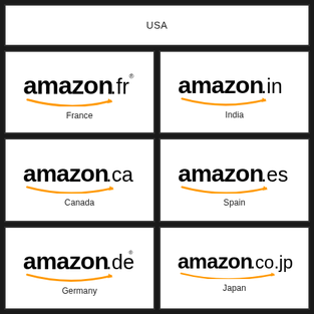[Figure (logo): Amazon USA logo with country label]
[Figure (logo): Amazon France (amazon.fr) logo]
[Figure (logo): Amazon India (amazon.in) logo]
[Figure (logo): Amazon Canada (amazon.ca) logo]
[Figure (logo): Amazon Spain (amazon.es) logo]
[Figure (logo): Amazon Germany (amazon.de) logo]
[Figure (logo): Amazon Japan (amazon.co.jp) logo]